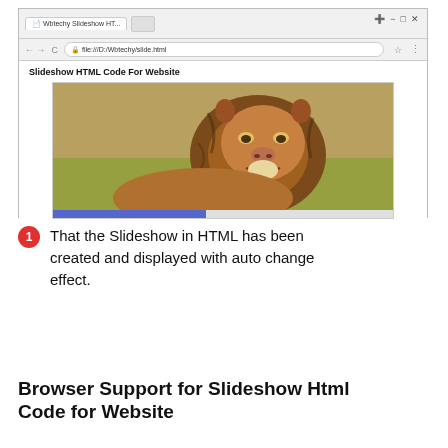[Figure (screenshot): Browser screenshot showing a webpage titled 'Slideshow HTML Code For Website' with a lion image slideshow and a blue progress bar at the bottom. URL bar shows file:///D:/Wbtechy/slide.html]
That the Slideshow in HTML has been created and displayed with auto change effect.
Browser Support for Slideshow Html Code for Website